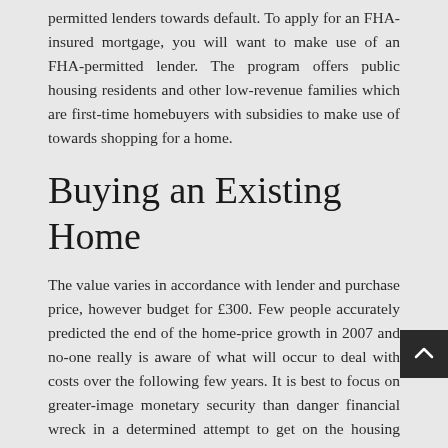permitted lenders towards default. To apply for an FHA-insured mortgage, you will want to make use of an FHA-permitted lender. The program offers public housing residents and other low-revenue families which are first-time homebuyers with subsidies to make use of towards shopping for a home.
Buying an Existing Home
The value varies in accordance with lender and purchase price, however budget for £300. Few people accurately predicted the end of the home-price growth in 2007 and no-one really is aware of what will occur to deal with costs over the following few years. It is best to focus on greater-image monetary security than danger financial wreck in a determined attempt to get on the housing ladder. Buyers should consider whether or not shopping for is inexpensive and the best decision within the long-time period, somewhat than panic over home prices or cave into the